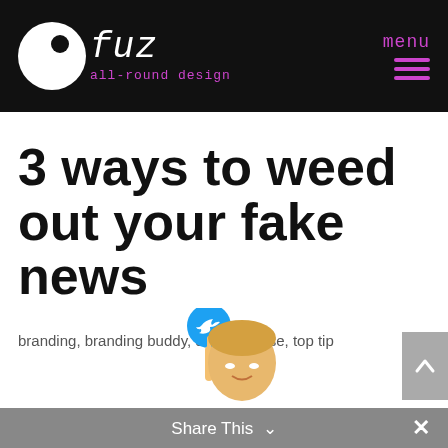[Figure (logo): fuz all-round design logo with white circle and dot on black background, magenta text]
3 ways to weed out your fake news
branding, branding buddy, design, muse, top tip
[Figure (photo): Photo of Donald Trump pointing upward with a Twitter bird icon above his finger, partially visible at bottom of page]
Share This ∨  ×